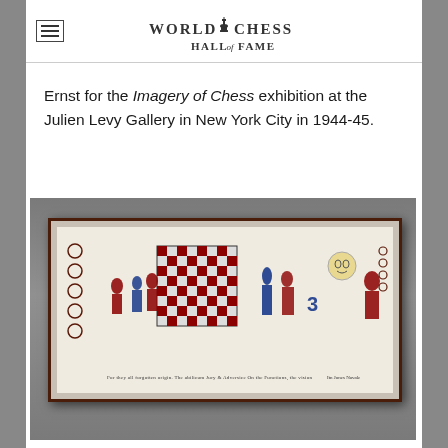WORLD CHESS HALL OF FAME
Ernst for the Imagery of Chess exhibition at the Julien Levy Gallery in New York City in 1944-45.
[Figure (photo): A framed horizontal artwork displayed on a gallery wall, showing a panoramic scene with chess-themed figures in red, blue, and maroon colors, with a large checkerboard in the center, surrounded by various chess piece-inspired characters and players. The work appears to be connected to the Imagery of Chess exhibition at Julien Levy Gallery, 1944-45.]